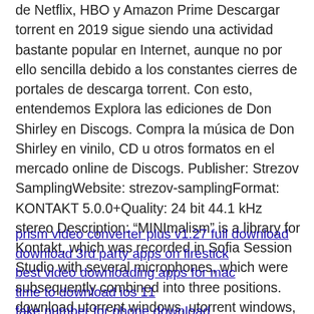de Netflix, HBO y Amazon Prime Descargar torrent en 2019 sigue siendo una actividad bastante popular en Internet, aunque no por ello sencilla debido a los constantes cierres de portales de descarga torrent. Con esto, entendemos Explora las ediciones de Don Shirley en Discogs. Compra la música de Don Shirley en vinilo, CD u otros formatos en el mercado online de Discogs. Publisher: Strezov SamplingWebsite: strezov-samplingFormat: KONTAKT 5.0.0+Quality: 24 bit 44.1 kHz stereo Description: "MINImalism" is a library for Kontakt, which was recorded in Sofia Session Studio with several microphones, which were subsequently combined into three positions. download utorrent windows, utorrent windows, utorrent windows download free
prism video converter plus v1.27 full download
download 3rd party apps on firestick
best video downloading apps for mac
time to download ios 11
fake number for phone download